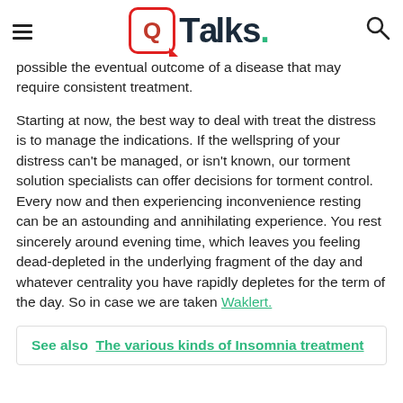QTalks.
possible the eventual outcome of a disease that may require consistent treatment.
Starting at now, the best way to deal with treat the distress is to manage the indications. If the wellspring of your distress can't be managed, or isn't known, our torment solution specialists can offer decisions for torment control. Every now and then experiencing inconvenience resting can be an astounding and annihilating experience. You rest sincerely around evening time, which leaves you feeling dead-depleted in the underlying fragment of the day and whatever centrality you have rapidly depletes for the term of the day. So in case we are taken Waklert.
See also  The various kinds of Insomnia treatment